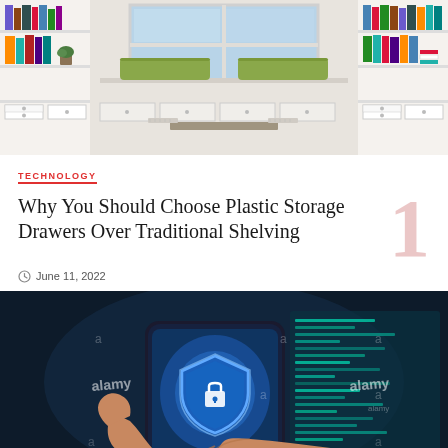[Figure (photo): Interior photo of a bright living space with white built-in bookshelves, drawers, and a window seat with green cushions]
TECHNOLOGY
Why You Should Choose Plastic Storage Drawers Over Traditional Shelving
June 11, 2022
[Figure (photo): Hand holding a smartphone displaying a security shield with lock icon, surrounded by digital code overlays and alamy watermarks]